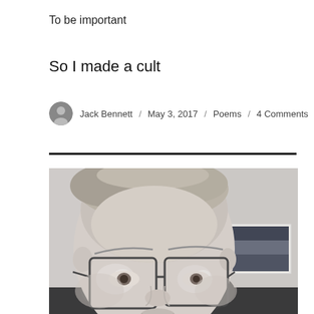To be important
So I made a cult
Jack Bennett / May 3, 2017 / Poems / 4 Comments
[Figure (photo): Black and white close-up selfie photo of a young person with short light hair wearing rectangular glasses, taken indoors with a framed picture on the wall in the background.]